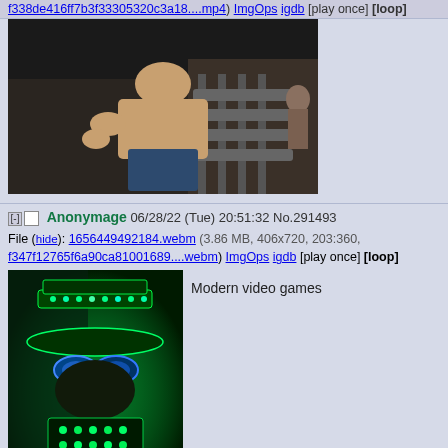f338de416ff7b3f33305320c3a18....mp4) ImgOps igdb [play once] [loop]
[Figure (photo): A shirtless muscular man leaning forward in a gym with weight racks in background]
Anonymage 06/28/22 (Tue) 20:51:32 No.291493
File (hide): 1656449492184.webm (3.86 MB, 406x720, 203:360, f347f12765f6a90ca81001689....webm) ImgOps igdb [play once] [loop]
[Figure (photo): Person wearing LED light-up hat and glasses glowing green in dark room]
Modern video games
Quick Reply